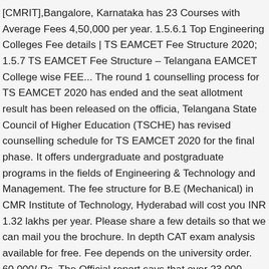[CMRIT],Bangalore, Karnataka has 23 Courses with Average Fees 4,50,000 per year. 1.5.6.1 Top Engineering Colleges Fee details | TS EAMCET Fee Structure 2020; 1.5.7 TS EAMCET Fee Structure – Telangana EAMCET College wise FEE... The round 1 counselling process for TS EAMCET 2020 has ended and the seat allotment result has been released on the officia, Telangana State Council of Higher Education (TSCHE) has revised counselling schedule for TS EAMCET 2020 for the final phase. It offers undergraduate and postgraduate programs in the fields of Engineering & Technology and Management. The fee structure for B.E (Mechanical) in CMR Institute of Technology, Hyderabad will cost you INR 1.32 lakhs per year. Please share a few details so that we can mail you the brochure. In depth CAT exam analysis available for free. Fee depends on the university order. 60,000/-Rs. The Official report says that over 23,000 seats remained vacant after the conclusion of th, Telangana State Council of Higher Education has released a notification regarding the counselling process and its registration.